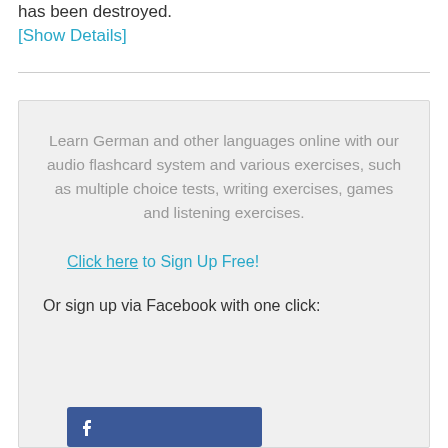has been destroyed.
[Show Details]
Learn German and other languages online with our audio flashcard system and various exercises, such as multiple choice tests, writing exercises, games and listening exercises.
Click here to Sign Up Free!
Or sign up via Facebook with one click:
[Figure (other): Facebook sign up button (blue background with Facebook icon)]